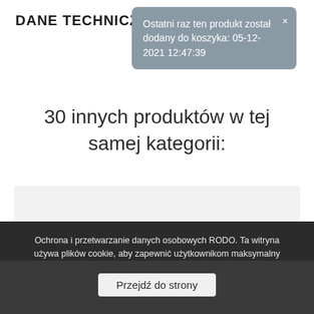DANE TECHNICZN
Ostatni raz ten produkt został dodany do koszyka: 05-12-2021 12:47:39
30 innych produktów w tej samej kategorii:
[Figure (photo): Product card placeholder — grey rectangle]
Zaślepka zewnetrzna...
Ochrona i przetwarzanie danych osobowych RODO. Ta witryna używa plików cookie, aby zapewnić użytkownikom maksymalny komfort przeglądania. Aby dowiedzieć się więcej na temat cookies oraz jak wykorzystujemy Twoje dane osobowe, kliknij więcej informacji
Przejdź do strony